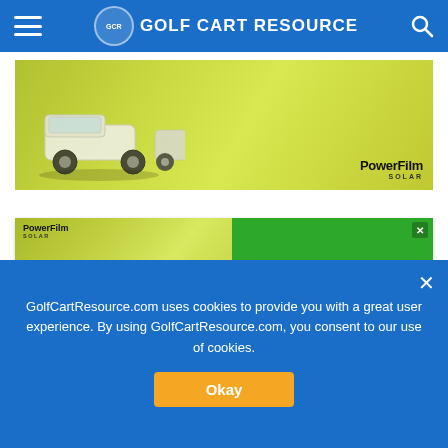Golf Cart Resource
[Figure (photo): Advertisement banner showing golf carts on a sunny green field with PowerFilm Solar branding]
[Figure (photo): PowerFilm Solar advertisement showing person in golf cart with text 'Increase Driving Distance By 50% With Our Solar Panel']
GolfCartResource.com uses cookies to provide you with a great user experience. By using GolfCartResource.com, you consent to our use of cookies.